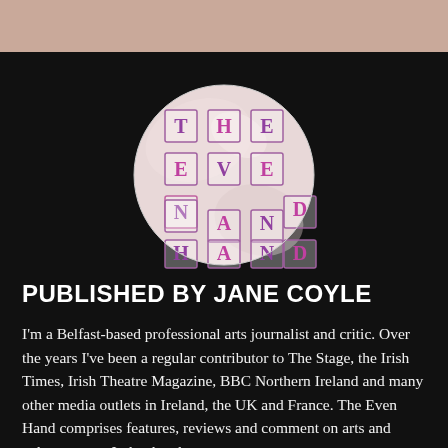[Figure (logo): The Even Hand logo — circular badge with pink/white marbled background, letters T H E / E V E N / H A N D arranged in a crossword-style grid with purple and pink letterpress-style boxes]
PUBLISHED BY JANE COYLE
I'm a Belfast-based professional arts journalist and critic. Over the years I've been a regular contributor to The Stage, the Irish Times, Irish Theatre Magazine, BBC Northern Ireland and many other media outlets in Ireland, the UK and France. The Even Hand comprises features, reviews and comment on arts and culture across Ireland and